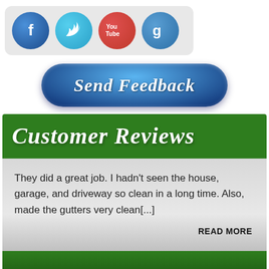[Figure (infographic): Social media icons row: Facebook (blue circle with f), Twitter (light blue circle with bird), YouTube (red circle with play button and 'You Tube' text), Google+ (blue circle with g)]
[Figure (infographic): Blue glossy rounded button with italic white text 'Send Feedback']
Customer Reviews
They did a great job. I hadn't seen the house, garage, and driveway so clean in a long time. Also, made the gutters very clean[...]
READ MORE